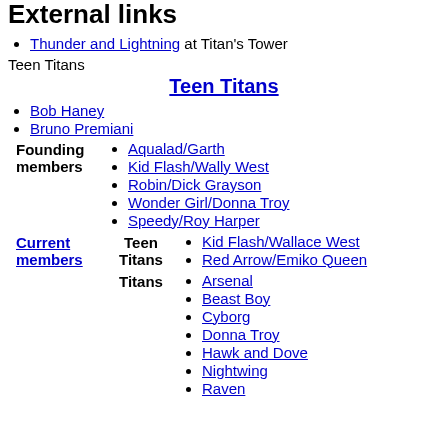External links
Thunder and Lightning at Titan's Tower
Teen Titans
Teen Titans
Bob Haney
Bruno Premiani
Founding members
Aqualad/Garth
Kid Flash/Wally West
Robin/Dick Grayson
Wonder Girl/Donna Troy
Speedy/Roy Harper
Teen Titans
Kid Flash/Wallace West
Red Arrow/Emiko Queen
Current members
Titans
Arsenal
Beast Boy
Cyborg
Donna Troy
Hawk and Dove
Nightwing
Raven